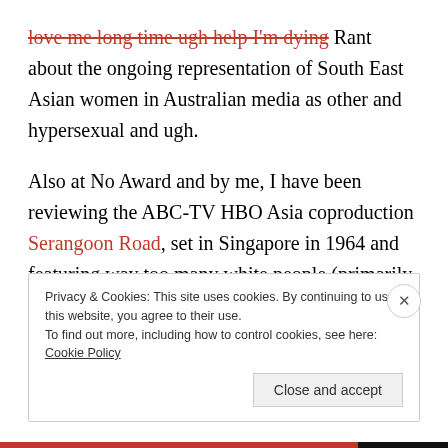love me long time ugh help I'm dying Rant about the ongoing representation of South East Asian women in Australian media as other and hypersexual and ugh.
Also at No Award and by me, I have been reviewing the ABC-TV HBO Asia coproduction Serangoon Road, set in Singapore in 1964 and featuring way too many white people (primarily Australians). In my reviews I discuss the show but also colonialism and imperialism and white attitudes in the SEA region in the period.
Privacy & Cookies: This site uses cookies. By continuing to use this website, you agree to their use. To find out more, including how to control cookies, see here: Cookie Policy